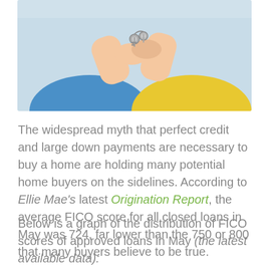[Figure (photo): Photo of two people exchanging house keys — one in a blue shirt, one in a yellow shirt, with keys being handed over.]
The widespread myth that perfect credit and large down payments are necessary to buy a home are holding many potential home buyers on the sidelines. According to Ellie Mae's latest Origination Report, the average FICO score for all closed loans in May was 724, far lower than the 750 or 800 that many buyers believe to be true.
Below is a graph of the distribution of FICO scores of approved loans in May (the latest available data):